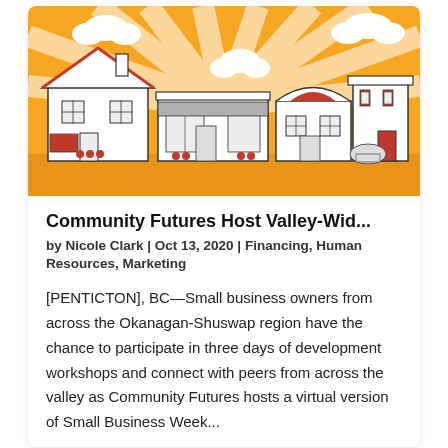[Figure (illustration): Illustrated cartoon of a small-town main street with several storefronts (houses and shops with red accents, awnings, windows, and small potted trees), set against a warm orange sunburst background with white clouds.]
Community Futures Host Valley-Wid...
by Nicole Clark | Oct 13, 2020 | Financing, Human Resources, Marketing
[PENTICTON], BC—Small business owners from across the Okanagan-Shuswap region have the chance to participate in three days of development workshops and connect with peers from across the valley as Community Futures hosts a virtual version of Small Business Week...